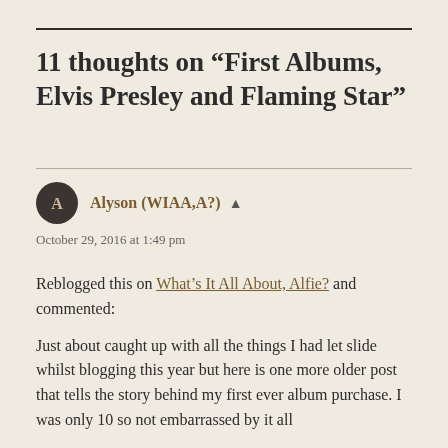11 thoughts on “First Albums, Elvis Presley and Flaming Star”
Alyson (WIAA,A?) ▾
October 29, 2016 at 1:49 pm
Reblogged this on What’s It All About, Alfie? and commented:
Just about caught up with all the things I had let slide whilst blogging this year but here is one more older post that tells the story behind my first ever album purchase. I was only 10 so not embarrassed by it all